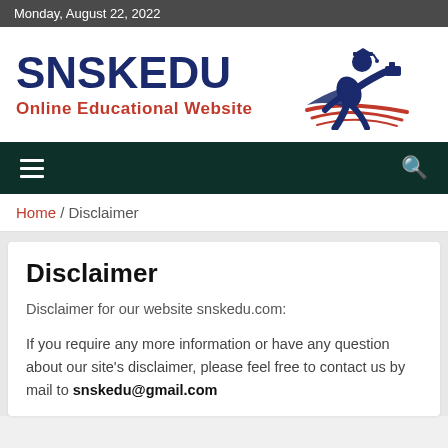Monday, August 22, 2022
[Figure (logo): SNSKEDU Online Educational Website logo with running graduate figure holding a hammer, in dark blue and red colors]
☰ (navigation menu) and 🔍 (search icon)
Home / Disclaimer
Disclaimer
Disclaimer for our website snskedu.com:
If you require any more information or have any question about our site's disclaimer, please feel free to contact us by mail to snskedu@gmail.com